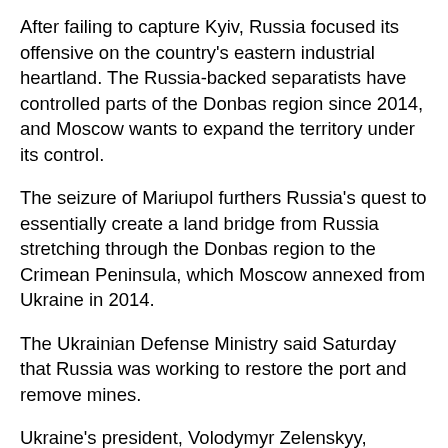After failing to capture Kyiv, Russia focused its offensive on the country's eastern industrial heartland. The Russia-backed separatists have controlled parts of the Donbas region since 2014, and Moscow wants to expand the territory under its control.
The seizure of Mariupol furthers Russia's quest to essentially create a land bridge from Russia stretching through the Donbas region to the Crimean Peninsula, which Moscow annexed from Ukraine in 2014.
The Ukrainian Defense Ministry said Saturday that Russia was working to restore the port and remove mines.
Ukraine's president, Volodymyr Zelenskyy, demanded anew that Russia pay “in one way or another for everything it has destroyed in Ukraine. Every burned house. Every ruined school, ruined hospital. Each blown up house of culture and infrastructure facility. Every destroyed enterprise.”